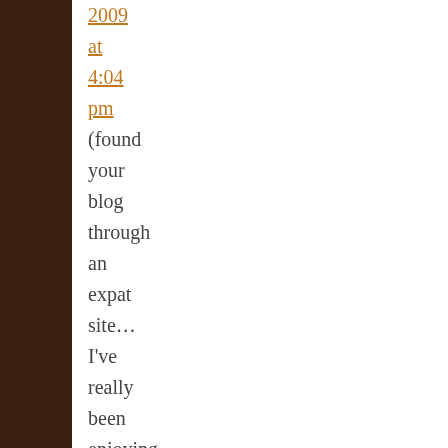2009 at 4:04 pm (found your blog through an expat site… I've really been enjoying your writing!) While you do raise very valid
While you do raise very valid